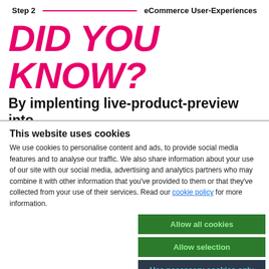Step 2   eCommerce User-Experiences
DID YOU KNOW?
By implenting live-product-preview into your eCommerce experience, you can
This website uses cookies
We use cookies to personalise content and ads, to provide social media features and to analyse our traffic. We also share information about your use of our site with our social media, advertising and analytics partners who may combine it with other information that you've provided to them or that they've collected from your use of their services. Read our cookie policy for more information.
Allow all cookies
Allow selection
Use necessary cookies only
Necessary  Preferences  Statistics  Marketing  Show details